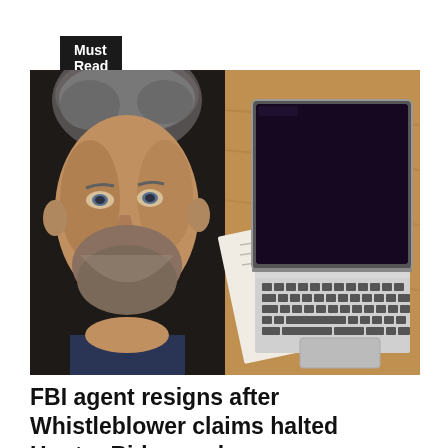Must Read
[Figure (photo): Split image: left half shows a man with gray hair and beard in close-up; right half shows an open laptop computer on a wooden desk with papers underneath]
FBI agent resigns after Whistleblower claims halted Hunter Biden probes